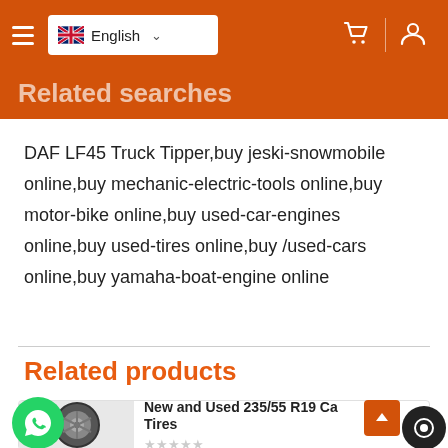English
Related searches
DAF LF45 Truck Tipper,buy jeski-snowmobile online,buy mechanic-electric-tools online,buy motor-bike online,buy used-car-engines online,buy used-tires online,buy /used-cars online,buy yamaha-boat-engine online
Related products
New and Used 235/55 R19 Car Tires